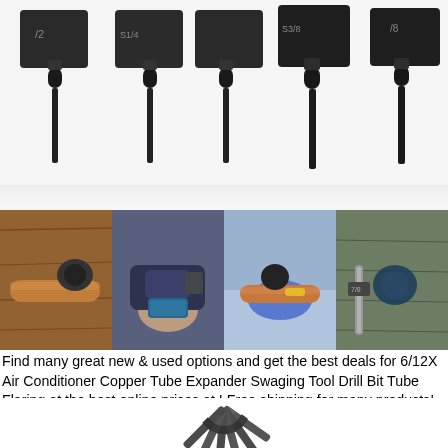[Figure (photo): Five black metal tube expander swaging tool heads with hex shanks, labeled with sizes including 1/2, S1/4, S3/8, and 3/8, arranged in a row on a white background.]
[Figure (photo): Four-panel collage showing copper tube expander swaging tool in use: (1) orange copper pipe with tool attached on wood surface, (2) hand holding power drill with attachment, (3) blue-gloved hand holding copper pipe with tool, (4) drill bit tool held near fabric/denim.]
Find many great new & used options and get the best deals for 6/12X Air Conditioner Copper Tube Expander Swaging Tool Drill Bit Tube Flaring at the best online prices at ! Free shipping for many products!. 🔖.
[Figure (photo): Six dark gray hex shank drill bit expander tools fanned out in a spread pattern on a white background, showing the hex drive ends and the expander barrel ends.]